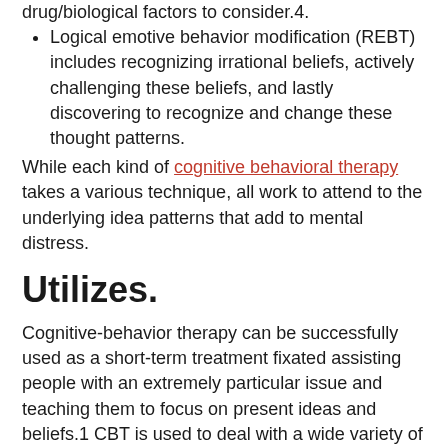drug/biological factors to consider.4.
Logical emotive behavior modification (REBT) includes recognizing irrational beliefs, actively challenging these beliefs, and lastly discovering to recognize and change these thought patterns.
While each kind of cognitive behavioral therapy takes a various technique, all work to attend to the underlying idea patterns that add to mental distress.
Utilizes.
Cognitive-behavior therapy can be successfully used as a short-term treatment fixated assisting people with an extremely particular issue and teaching them to focus on present ideas and beliefs.1 CBT is used to deal with a wide variety of conditions including:.
Addictions.
Anger concerns.
Anxiety